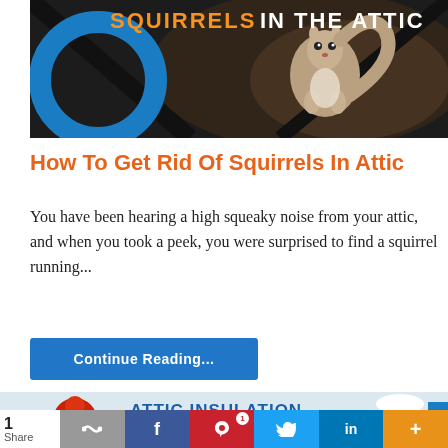[Figure (photo): Hero banner image showing a squirrel in a dark attic with a large blue circle graphic and text 'SQUIRRELS IN THE ATTIC' in orange and white uppercase letters]
How To Get Rid Of Squirrels In Attic
You have been hearing a high squeaky noise from your attic, and when you took a peek, you were surprised to find a squirrel running...
Continue Reading...
[Figure (photo): Bottom banner showing 'ATTIC INSULATION MADE EASY' text with a person in red winter hat and a worker in white hard hat]
1 Share | link | f | 1 (Pinterest) | Twitter | in | +